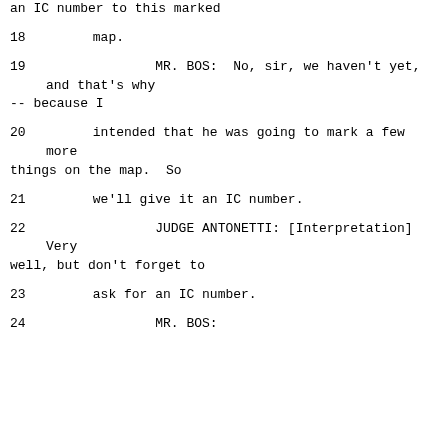an IC number to this marked
18      map.
19              MR. BOS:  No, sir, we haven't yet, and that's why -- because I
20      intended that he was going to mark a few more things on the map.  So
21      we'll give it an IC number.
22              JUDGE ANTONETTI: [Interpretation] Very well, but don't forget to
23      ask for an IC number.
24              MR. BOS: